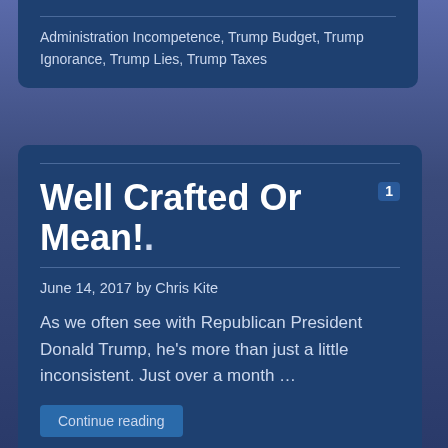Administration Incompetence, Trump Budget, Trump Ignorance, Trump Lies, Trump Taxes
Well Crafted Or Mean!
June 14, 2017 by Chris Kite
As we often see with Republican President Donald Trump, he’s more than just a little inconsistent. Just over a month …
Continue reading
Category: #Donald Trump, #Obamacare, ACA, Donald Trump, Donald Trump, Donald Trump Is Without Qualification, Donald Trump Lies, Failed Republican Policies, Healthcare,